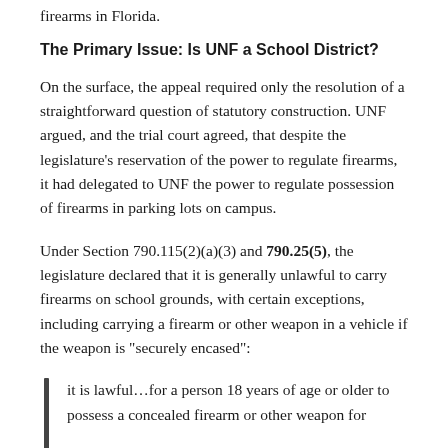firearms in Florida.
The Primary Issue: Is UNF a School District?
On the surface, the appeal required only the resolution of a straightforward question of statutory construction. UNF argued, and the trial court agreed, that despite the legislature’s reservation of the power to regulate firearms, it had delegated to UNF the power to regulate possession of firearms in parking lots on campus.
Under Section 790.115(2)(a)(3) and 790.25(5), the legislature declared that it is generally unlawful to carry firearms on school grounds, with certain exceptions, including carrying a firearm or other weapon in a vehicle if the weapon is “securely encased”:
it is lawful…for a person 18 years of age or older to possess a concealed firearm or other weapon for